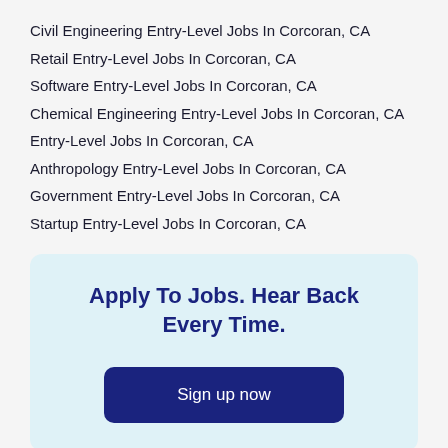Civil Engineering Entry-Level Jobs In Corcoran, CA
Retail Entry-Level Jobs In Corcoran, CA
Software Entry-Level Jobs In Corcoran, CA
Chemical Engineering Entry-Level Jobs In Corcoran, CA
Entry-Level Jobs In Corcoran, CA
Anthropology Entry-Level Jobs In Corcoran, CA
Government Entry-Level Jobs In Corcoran, CA
Startup Entry-Level Jobs In Corcoran, CA
Apply To Jobs. Hear Back Every Time.
Sign up now